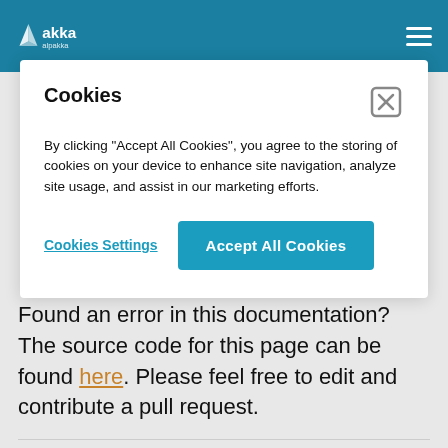akka alpakka
Cookies
By clicking “Accept All Cookies”, you agree to the storing of cookies on your device to enhance site navigation, analyze site usage, and assist in our marketing efforts.
Cookies Settings | Accept All Cookies
Found an error in this documentation? The source code for this page can be found here. Please feel free to edit and contribute a pull request.
Alpakka is Open Source and available under the Apache 2 License. © 2011-2022 Lightbend, Inc. | Licenses | Terms | Privacy Policy | Cookie Listing | Cookies Settings